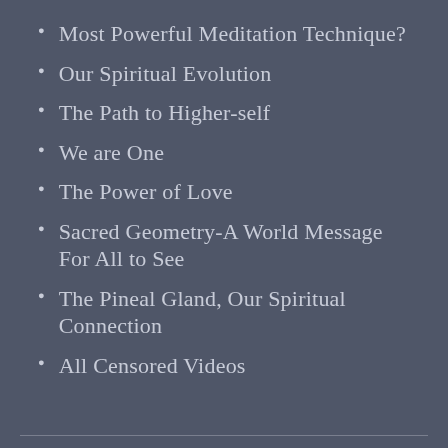Most Powerful Meditation Technique?
Our Spiritual Evolution
The Path to Higher-self
We are One
The Power of Love
Sacred Geometry-A World Message For All to See
The Pineal Gland, Our Spiritual Connection
All Censored Videos